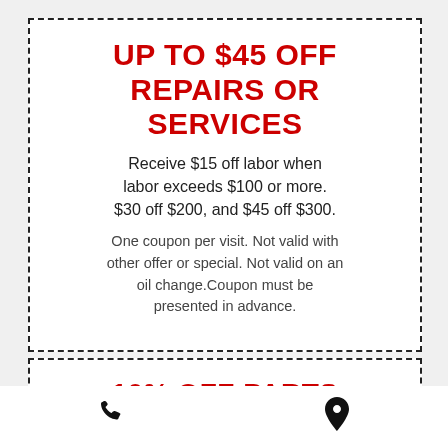UP TO $45 OFF REPAIRS OR SERVICES
Receive $15 off labor when labor exceeds $100 or more. $30 off $200, and $45 off $300.
One coupon per visit. Not valid with other offer or special. Not valid on an oil change.Coupon must be presented in advance.
10% OFF PARTS FOR MILITARY PERSONNEL
Must show Military ID